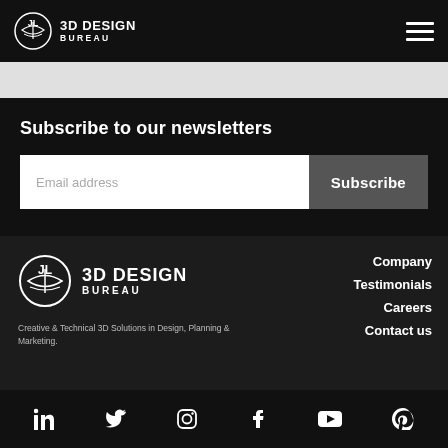3D DESIGN BUREAU
Subscribe to our newsletters
Email address
Subscribe
[Figure (logo): 3D Design Bureau logo with circular icon in footer]
Creative & Technical 3D Solutions in Design, Planning & Marketing.
Company
Testimonials
Careers
Contact us
Social media icons: LinkedIn, Twitter, Instagram, Facebook, YouTube, Pinterest